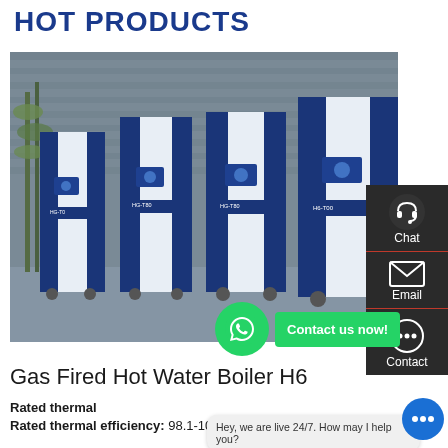HOT PRODUCTS
[Figure (photo): Row of four Gas Fired Hot Water Boiler H6 units (navy blue and white cabinet style boilers) displayed against a gray stone wall background with bamboo plants]
[Figure (infographic): Side panel UI with Chat (headset icon), Email (envelope icon), and Contact (speech bubble icon) buttons on dark background]
[Figure (infographic): Green WhatsApp circular button and green 'Contact us now!' button overlay]
Gas Fired Hot Water Boiler H6
Rated thermal
Rated thermal efficiency: 98.1-100%
Hey, we are live 24/7. How may I help you?